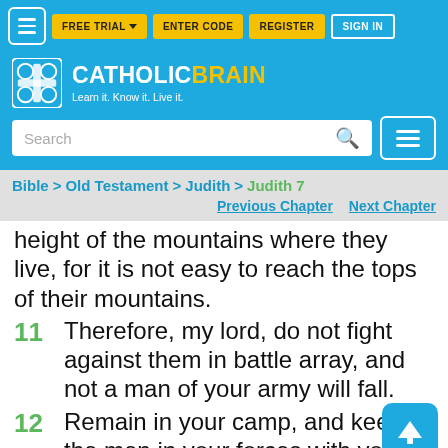[Figure (screenshot): CatholicBrain website navigation bar with hamburger menu, FREE TRIAL, ENTER CODE, REGISTER, and SIGN IN buttons on a blue background]
[Figure (logo): CatholicBrain logo with brain icon and tagline: Learn it. Know it. Live it.]
[Figure (screenshot): Search bar with magnifying glass icon and hamburger menu button on right, on blue background]
Bible > Old Testament > Judith > Judith 7
Previous Chapter   Next Chapter
height of the mountains where they live, for it is not easy to reach the tops of their mountains.
11  Therefore, my lord, do not fight against them in battle array, and not a man of your army will fall.
12  Remain in your camp, and keep all the men in your forces with you;